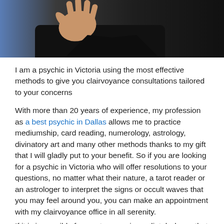[Figure (photo): Partial photo showing a person in dark clothing with hand raised, against a blue/dark background. Only the lower portion of the person is visible.]
I am a psychic in Victoria using the most effective methods to give you clairvoyance consultations tailored to your concerns
With more than 20 years of experience, my profession as a best psychic in Dallas allows me to practice mediumship, card reading, numerology, astrology, divinatory art and many other methods thanks to my gift that I will gladly put to your benefit. So if you are looking for a psychic in Victoria who will offer resolutions to your questions, no matter what their nature, a tarot reader or an astrologer to interpret the signs or occult waves that you may feel around you, you can make an appointment with my clairvoyance office in all serenity.
If it is impossible for you to move immediately, know that it